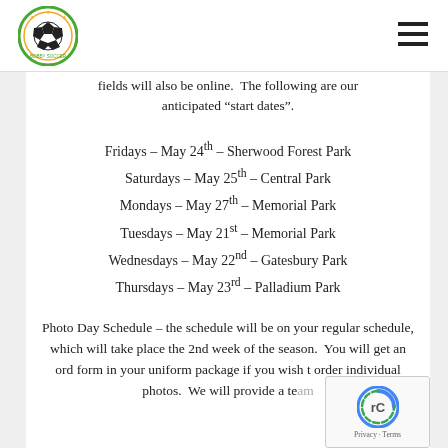[Figure (logo): Bobby Soccer club logo — circular badge with soccer ball in center, stars around, orange and green colors]
fields will also be online.  The following are our anticipated “start dates”.
Fridays – May 24th – Sherwood Forest Park
Saturdays – May 25th – Central Park
Mondays – May 27th – Memorial Park
Tuesdays – May 21st – Memorial Park
Wednesdays – May 22nd – Gatesbury Park
Thursdays – May 23rd – Palladium Park
Photo Day Schedule – the schedule will be on your regular schedule, which will take place the 2nd week of the season.  You will get an ord form in your uniform package if you wish to order individual photos.  We will provide a team